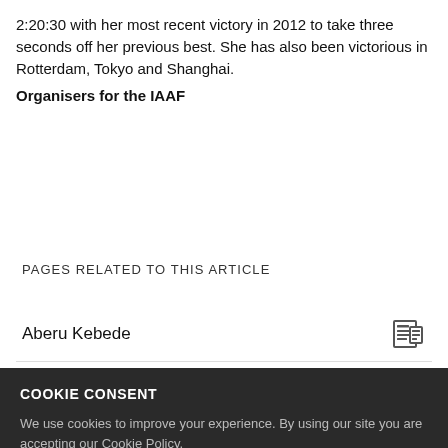2:20:30 with her most recent victory in 2012 to take three seconds off her previous best. She has also been victorious in Rotterdam, Tokyo and Shanghai.
Organisers for the IAAF
PAGES RELATED TO THIS ARTICLE
Aberu Kebede
COOKIE CONSENT
We use cookies to improve your experience. By using our site you are accepting our Cookie Policy.
Allow marketing preferences
Continue